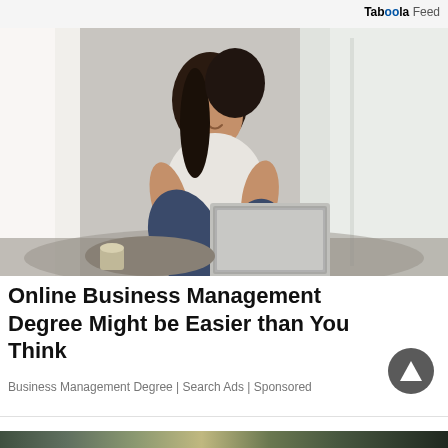Taboola Feed
[Figure (photo): Young woman with dark hair sitting cross-legged on the floor, smiling and using a laptop computer, with bright windows in the background and white curtains.]
Online Business Management Degree Might be Easier than You Think
Business Management Degree | Search Ads | Sponsored
[Figure (photo): Partial strip of an outdoor nature photo at the bottom of the page.]